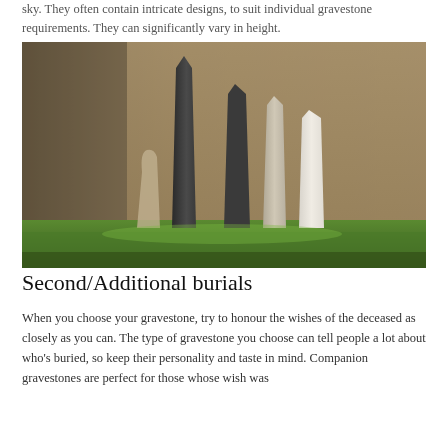sky. They often contain intricate designs, to suit individual gravestone requirements. They can significantly vary in height.
[Figure (photo): Photograph of several tall obelisk-style gravestones of varying heights and colours (dark grey, light grey, white) standing against a rough stone wall with green grass at their base.]
Second/Additional burials
When you choose your gravestone, try to honour the wishes of the deceased as closely as you can. The type of gravestone you choose can tell people a lot about who's buried, so keep their personality and taste in mind. Companion gravestones are perfect for those whose wish was